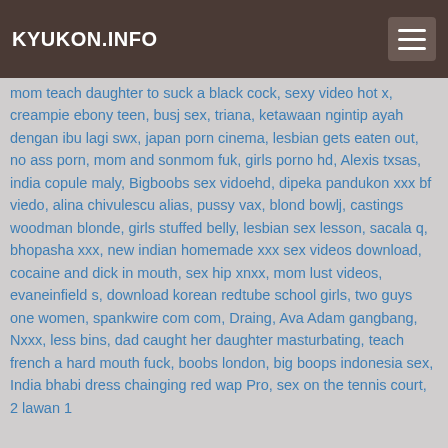KYUKON.INFO
mom teach daughter to suck a black cock, sexy video hot x, creampie ebony teen, busj sex, triana, ketawaan ngintip ayah dengan ibu lagi swx, japan porn cinema, lesbian gets eaten out, no ass porn, mom and sonmom fuk, girls porno hd, Alexis txsas, india copule maly, Bigboobs sex vidoehd, dipeka pandukon xxx bf viedo, alina chivulescu alias, pussy vax, blond bowlj, castings woodman blonde, girls stuffed belly, lesbian sex lesson, sacala q, bhopasha xxx, new indian homemade xxx sex videos download, cocaine and dick in mouth, sex hip xnxx, mom lust videos, evaneinfield s, download korean redtube school girls, two guys one women, spankwire com com, Draing, Ava Adam gangbang, Nxxx, less bins, dad caught her daughter masturbating, teach french a hard mouth fuck, boobs london, big boops indonesia sex, India bhabi dress chainging red wap Pro, sex on the tennis court, 2 lawan 1